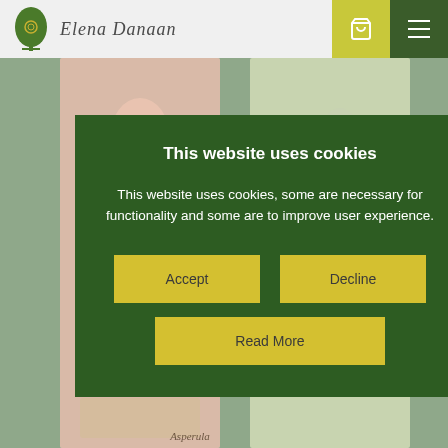[Figure (logo): Elena Danaan logo with green leaf/spiral icon and italic script name]
[Figure (photo): Decorative tarot or oracle cards showing feminine figures in pink and white robes against a sage green background, partially visible behind the cookie consent modal]
This website uses cookies
This website uses cookies, some are necessary for functionality and some are to improve user experience.
Accept
Decline
Read More